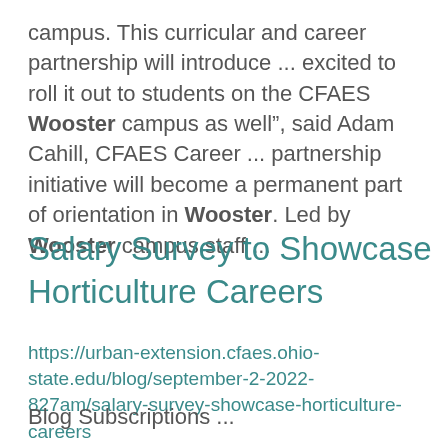campus. This curricular and career partnership will introduce ... excited to roll it out to students on the CFAES Wooster campus as well”, said Adam Cahill, CFAES Career ... partnership initiative will become a permanent part of orientation in Wooster. Led by Wooster campus staff ...
Salary Survey to Showcase Horticulture Careers
https://urban-extension.cfaes.ohio-state.edu/blog/september-2-2022-827am/salary-survey-showcase-horticulture-careers
Blog Subscriptions ...